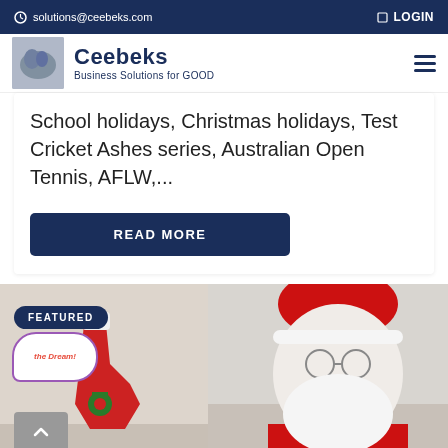solutions@ceebeks.com  LOGIN
[Figure (logo): Ceebeks logo with hands image and tagline 'Business Solutions for GOOD']
School holidays, Christmas holidays, Test Cricket Ashes series, Australian Open Tennis, AFLW,...
READ MORE
[Figure (photo): Featured section with Santa Claus looking at a Christmas stocking, with a 'FEATURED' badge and Ceebeks logo bubble overlay]